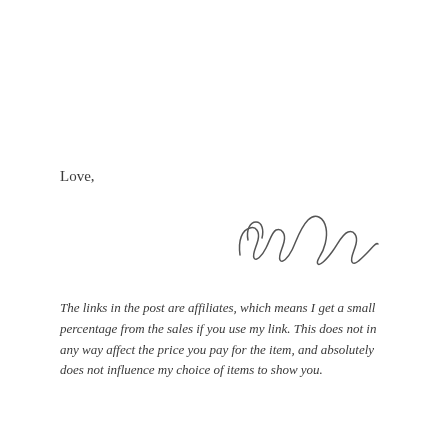Love,
[Figure (illustration): Handwritten cursive signature reading 'Mimi']
The links in the post are affiliates, which means I get a small percentage from the sales if you use my link. This does not in any way affect the price you pay for the item, and absolutely does not influence my choice of items to show you.